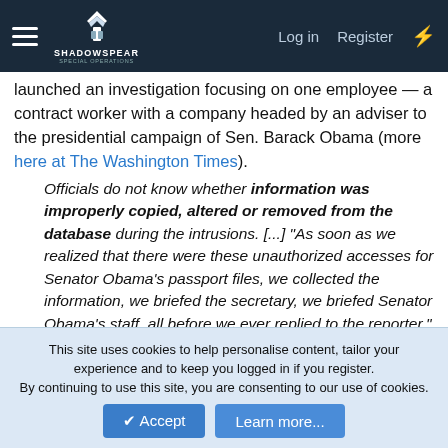ShadowSpear Special Operations — Log in | Register
launched an investigation focusing on one employee — a contract worker with a company headed by an adviser to the presidential campaign of Sen. Barack Obama (more here at The Washington Times).
Officials do not know whether information was improperly copied, altered or removed from the database during the intrusions. [...] "As soon as we realized that there were these unauthorized accesses for Senator Obama's passport files, we collected the information, we briefed the secretary, we briefed Senator Obama's staff, all before we ever replied to the reporter,"
It should be noted that before the investigation could proceed much further, the key witness in this passport tampering case, Lt. Quarles Harris Jr., 24, (who had been cooperating with a federal investigators at the time) was found murdered, shot in
This site uses cookies to help personalise content, tailor your experience and to keep you logged in if you register. By continuing to use this site, you are consenting to our use of cookies.